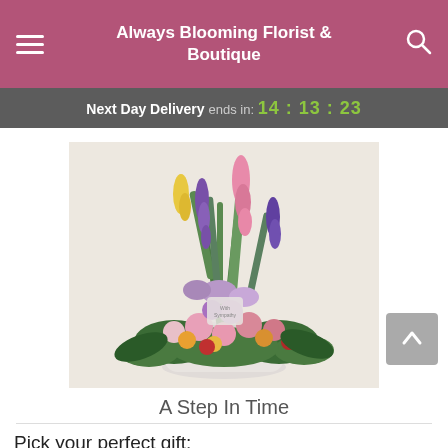Always Blooming Florist & Boutique
Next Day Delivery ends in: 14:13:23
[Figure (photo): Floral arrangement in a white vase, tall with pink gladioli, purple delphinium, yellow snapdragons, and colorful mixed flowers at the base]
A Step In Time
Pick your perfect gift: